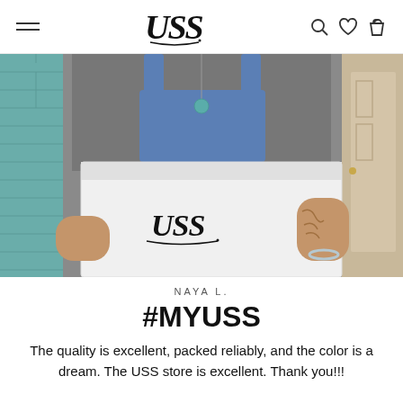USS (logo) — navigation header with hamburger menu and icons
[Figure (photo): Person wearing denim overalls and a grey t-shirt holding a large white USS branded box, standing in front of a teal brick wall and a door.]
NAYA L.
#MYUSS
The quality is excellent, packed reliably, and the color is a dream. The USS store is excellent. Thank you!!!